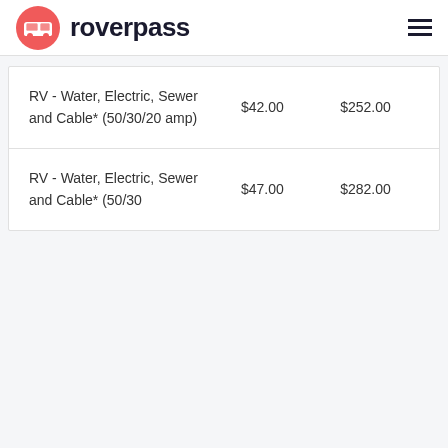roverpass
| Site Type | Price | Total |
| --- | --- | --- |
| RV - Water, Electric, Sewer and Cable* (50/30/20 amp) | $42.00 | $252.00 |
| RV - Water, Electric, Sewer and Cable* (50/30... | $47.00 | $282.00 |